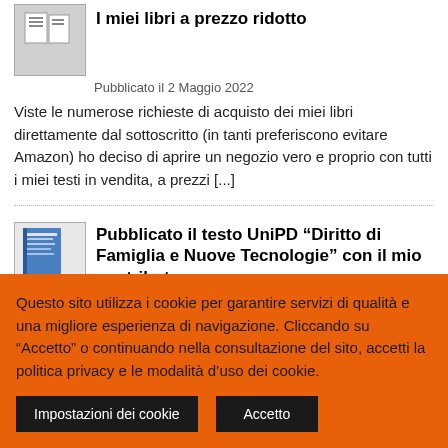[Figure (illustration): Thumbnail image of a book cover (partially visible, showing stacked books or document)]
I miei libri a prezzo ridotto
Pubblicato il 2 Maggio 2022
Viste le numerose richieste di acquisto dei miei libri direttamente dal sottoscritto (in tanti preferiscono evitare Amazon) ho deciso di aprire un negozio vero e proprio con tutti i miei testi in vendita, a prezzi [...]
[Figure (illustration): Thumbnail image of a blue book cover for UniPD text on Diritto di Famiglia e Nuove Tecnologie]
Pubblicato il testo UniPD “Diritto di Famiglia e Nuove Tecnologie” con il mio contributo
Pubblicato il 2 Maggio 2022
Pubblicato il testo “Diritto di famiglia e nuove tecnologie” contenente gli atti della I Edizione della International Winter
Questo sito utilizza i cookie per garantire servizi di qualità e una migliore esperienza di navigazione. Cliccando su “Accetto” o continuando nella consultazione del sito, accetti la politica privacy e le modalità d’uso dei cookie.
Impostazioni dei cookie
Accetto